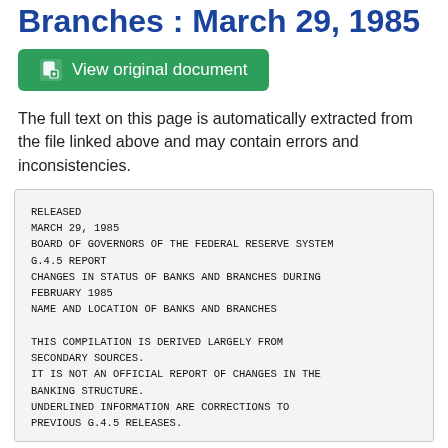Branches : March 29, 1985
[Figure (other): Green button: View original document]
The full text on this page is automatically extracted from the file linked above and may contain errors and inconsistencies.
RELEASED
MARCH 29, 1985
BOARD OF GOVERNORS OF THE FEDERAL RESERVE SYSTEM
G.4.5 REPORT
CHANGES IN STATUS OF BANKS AND BRANCHES DURING FEBRUARY 1985
NAME AND LOCATION OF BANKS AND BRANCHES

THIS COMPILATION IS DERIVED LARGELY FROM SECONDARY SOURCES.
IT IS NOT AN OFFICIAL REPORT OF CHANGES IN THE BANKING STRUCTURE.
UNDERLINED INFORMATION ARE CORRECTIONS TO PREVIOUS G.4.5 RELEASES.